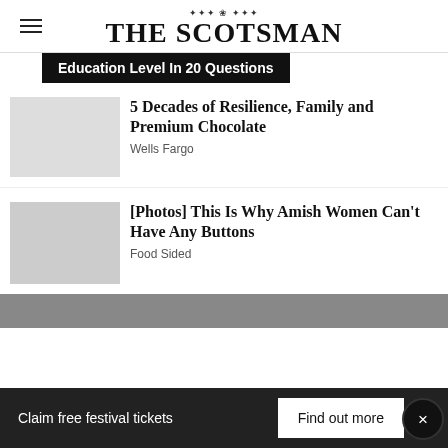THE SCOTSMAN
Education Level In 20 Questions
5 Decades of Resilience, Family and Premium Chocolate
Wells Fargo
[Photos] This Is Why Amish Women Can't Have Any Buttons
Food Sided
Claim free festival tickets   Find out more